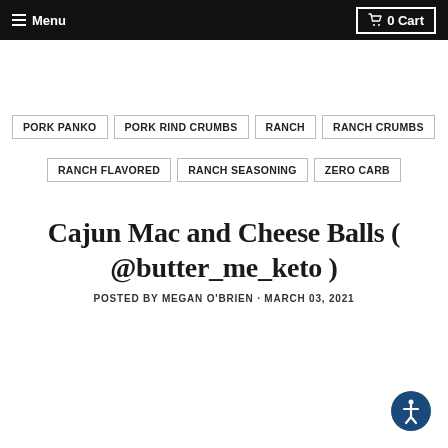Menu | 0 Cart
PORK PANKO
PORK RIND CRUMBS
RANCH
RANCH CRUMBS
RANCH FLAVORED
RANCH SEASONING
ZERO CARB
Cajun Mac and Cheese Balls ( @butter_me_keto )
POSTED BY MEGAN O'BRIEN · MARCH 03, 2021